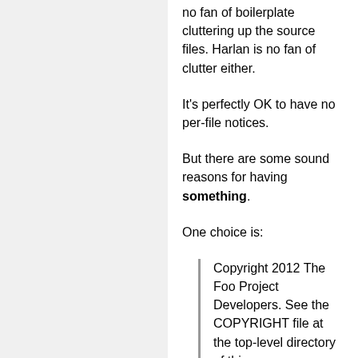no fan of boilerplate cluttering up the source files. Harlan is no fan of clutter either.
It's perfectly OK to have no per-file notices.
But there are some sound reasons for having something.
One choice is:
Copyright 2012 The Foo Project Developers. See the COPYRIGHT file at the top-level directory of this